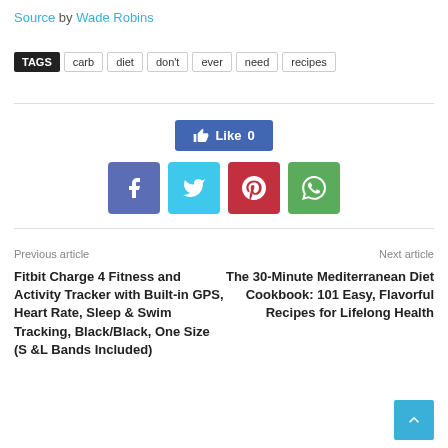Source by Wade Robins
TAGS  carb  diet  don't  ever  need  recipes
[Figure (screenshot): Facebook Like button showing Like 0]
[Figure (screenshot): Social sharing buttons: Facebook, Twitter, Pinterest, WhatsApp]
Previous article
Fitbit Charge 4 Fitness and Activity Tracker with Built-in GPS, Heart Rate, Sleep & Swim Tracking, Black/Black, One Size (S &L Bands Included)
Next article
The 30-Minute Mediterranean Diet Cookbook: 101 Easy, Flavorful Recipes for Lifelong Health